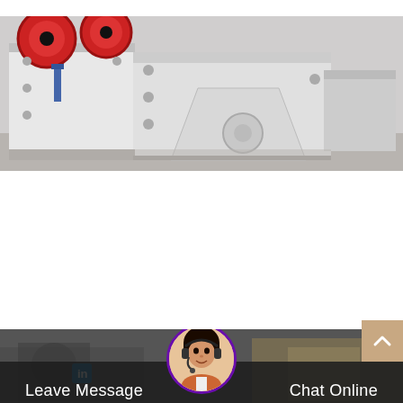[Figure (photo): Industrial jaw crusher machinery in white and red, photographed in a factory setting. Large heavy machinery frames visible.]
Jaw Crushers Metso
In addition to the stationary jaw crushers presented on this page many jaw crusher models are also available as mobile or portable versions...
[Figure (photo): Bottom portion showing machinery in background with dark overlay chat bar containing Leave Message and Chat Online buttons, and a customer service avatar.]